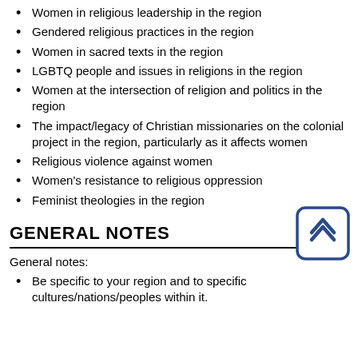Women in religious leadership in the region
Gendered religious practices in the region
Women in sacred texts in the region
LGBTQ people and issues in religions in the region
Women at the intersection of religion and politics in the region
The impact/legacy of Christian missionaries on the colonial project in the region, particularly as it affects women
Religious violence against women
Women's resistance to religious oppression
Feminist theologies in the region
GENERAL NOTES
General notes:
Be specific to your region and to specific cultures/nations/peoples within it.